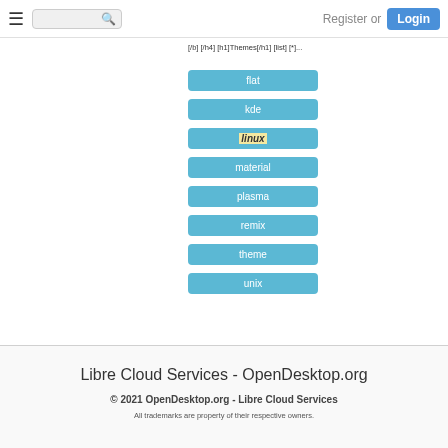≡ [search] Register or Login
[/b] [/h4] [h1]Themes[/h1] [list] [*]...
flat
kde
linux
material
plasma
remix
theme
unix
<< 1 2 >>
Libre Cloud Services - OpenDesktop.org
© 2021 OpenDesktop.org - Libre Cloud Services
All trademarks are property of their respective owners.